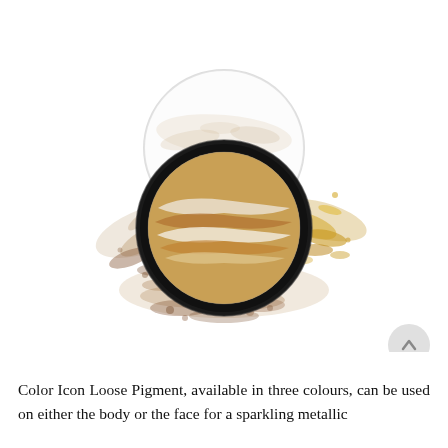[Figure (photo): A round compact makeup powder with a clear lid, showing swirled stripes of gold, bronze, and white shimmer powder inside a black case. The compact is surrounded by scattered crushed metallic powder in gold and bronze tones on a white background.]
Color Icon Loose Pigment, available in three colours, can be used on either the body or the face for a sparkling metallic